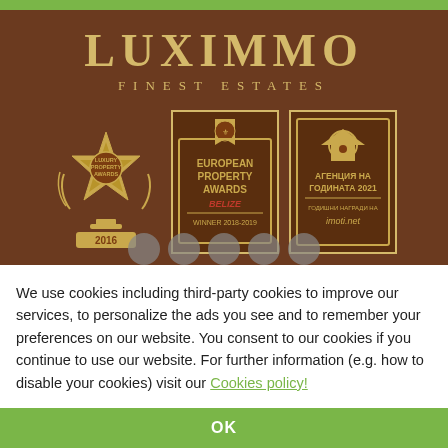[Figure (logo): Luximmo Finest Estates logo with brown background, gold text, and three award badges: Luxury Property Awards 2016 (star badge), European Property Awards Winner 2018-2019, and Agency of the Year 2021 from imoti.net. Social media icons row at bottom.]
We use cookies including third-party cookies to improve our services, to personalize the ads you see and to remember your preferences on our website. You consent to our cookies if you continue to use our website. For further information (e.g. how to disable your cookies) visit our Cookies policy!
OK